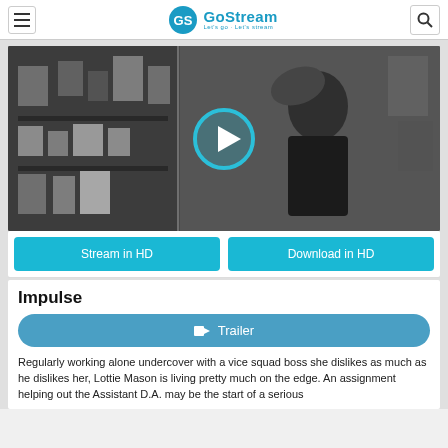GoStream - Let's go · Let's stream
[Figure (screenshot): Black and white movie still showing a woman in a black dress with wind-blown hair, running or moving urgently in what appears to be a store setting. A circular play button overlay is centered on the image.]
Stream in HD
Download in HD
Impulse
Trailer
Regularly working alone undercover with a vice squad boss she dislikes as much as he dislikes her, Lottie Mason is living pretty much on the edge. An assignment helping out the Assistant D.A. may be the start of a serious